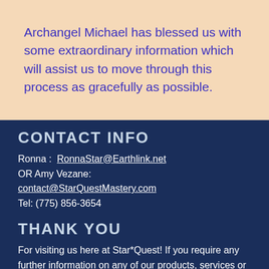Archangel Michael has blessed us with some extraordinary information which will assist us to move through this process as gracefully as possible.
CONTACT INFO
Ronna : RonnaStar@Earthlink.net OR Amy Vezane: contact@StarQuestMastery.com Tel: (775) 856-3654
THANK YOU
For visiting us here at Star*Quest! If you require any further information on any of our products, services or seminars, please contact Ronna or Amy during business hours, Monday through Thursday 10a.m. - 2p.m. Pacific
Phone  Email  Facebook